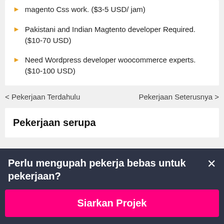magento Css work. ($3-5 USD/ jam)
Pakistani and Indian Magtento developer Required. ($10-70 USD)
Need Wordpress developer woocommerce experts. ($10-100 USD)
< Pekerjaan Terdahulu
Pekerjaan Seterusnya >
Pekerjaan serupa
Perlu mengupah pekerja bebas untuk pekerjaan?
Siarkan Projek